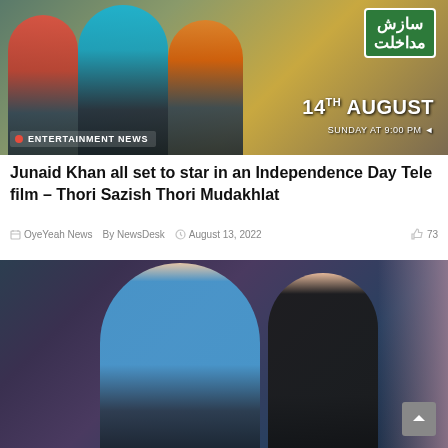[Figure (photo): Movie promotional poster for 'Thori Sazish Thori Mudakhlat' showing three people standing, with Urdu text sign top right, and '14TH AUGUST SUNDAY AT 9:00 PM' text. Banner reads 'ENTERTAINMENT NEWS' with red dot at bottom left.]
Junaid Khan all set to star in an Independence Day Tele film – Thori Sazish Thori Mudakhlat
OyeYeah News  By NewsDesk  August 13, 2022  73
[Figure (photo): Photo of a man in a blue suit with a patterned tie and a woman in a black dress, appearing to be at an event or gathering. Another person partially visible on the right, slightly blurred.]